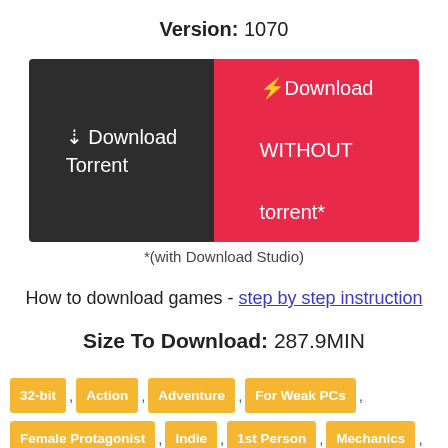Version: 1070
[Figure (other): Two download buttons: a dark grey 'Download Torrent' button and a red 'Download WITHOUT torrent*' button]
*(with Download Studio)
How to download games - step by step instruction
Size To Download: 287.9MIN
32-bit , Action , Adventure , For Weak PCs ,
Female Protagonist , Indie , 1st Person , Mechanics ,
3D Platformer , Puzzle , 2015